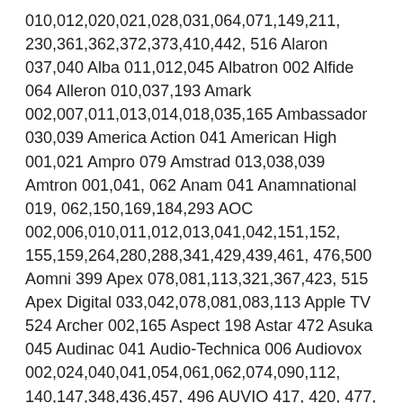010,012,020,021,028,031,064,071,149,211, 230,361,362,372,373,410,442, 516 Alaron 037,040 Alba 011,012,045 Albatron 002 Alfide 064 Alleron 010,037,193 Amark 002,007,011,013,014,018,035,165 Ambassador 030,039 America Action 041 American High 001,021 Ampro 079 Amstrad 013,038,039 Amtron 001,041, 062 Anam 041 Anamnational 019, 062,150,169,184,293 AOC 002,006,010,011,012,013,041,042,151,152, 155,159,264,280,288,341,429,439,461, 476,500 Aomni 399 Apex 078,081,113,321,367,423, 515 Apex Digital 033,042,078,081,083,113 Apple TV 524 Archer 002,165 Aspect 198 Astar 472 Asuka 045 Audinac 041 Audio-Technica 006 Audiovox 002,024,040,041,054,061,062,074,090,112, 140,147,348,436,457, 496 AUVIO 417, 420, 477, 451,489, 521 Aventura 038 Axion 147,281,454